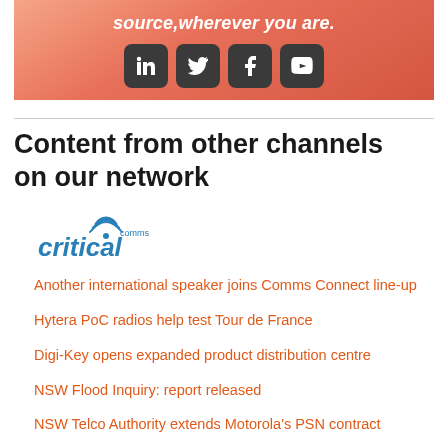[Figure (illustration): Orange gradient banner with text 'source, wherever you are.' and social media icons for LinkedIn, Twitter, Facebook, and YouTube]
Content from other channels on our network
[Figure (logo): Critical Comms logo in blue with wifi signal icon]
Another international speaker joins Comms Connect line-up
Hytera PoC radios help test Tour de France
Digi-Key opens expanded product distribution centre
NSW Flood Inquiry: report released
NSW Telco Authority extends Motorola's PSN contract